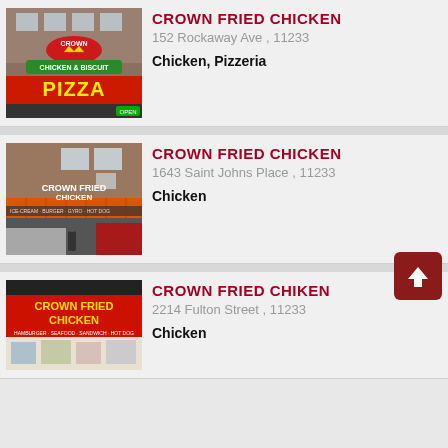[Figure (photo): Crown Fried Chicken storefront with Crown logo, Chicken & Biscuit, and Pizza signage]
CROWN FRIED CHICKEN
152 Rockaway Ave , 11233
Chicken, Pizzeria
[Figure (photo): Crown Fried Chicken storefront with awning, ATM sign, ice cream, burger, gyro signage]
CROWN FRIED CHICKEN
1643 Saint Johns Place , 11233
Chicken
[Figure (photo): Crown Fried Chicken storefront with red sign and yellow text, hamburger seafood sandwich signage]
CROWN FRIED CHIKEN
2214 Fulton Street , 11233
Chicken